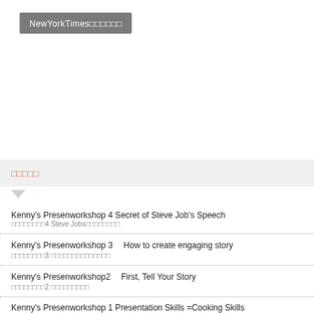NewYorkTimes□□□□□□□
□□□□□
Kenny's Presenworkshop 4 Secret of Steve Job's Speech / □□□□□□□□□4 Steve Jobs□□□□□□□□
Kenny's Presenworkshop 3　How to create engaging story / □□□□□□□□3 □□□□□□□□□□□□□□
Kenny's Presenworkshop2　First, Tell Your Story / □□□□□□□□□2 □□□□□□□□□
Kenny's Presenworkshop 1 Presentation Skills =Cooking Skills / □□□□□□□□□□□□□□□